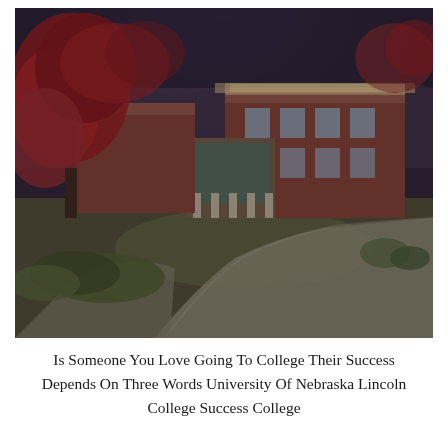[Figure (photo): Exterior photo of a university building (University of Nebraska Lincoln campus) with red-leafed trees in the foreground, a brick multi-story academic building in the background, and a curved walkway path in the lower portion of the image. Taken at dusk or early morning with dim natural lighting.]
Is Someone You Love Going To College Their Success Depends On Three Words University Of Nebraska Lincoln College Success College